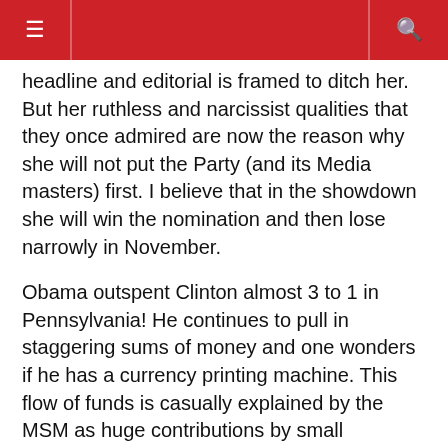≡  🔍
headline and editorial is framed to ditch her. But her ruthless and narcissist qualities that they once admired are now the reason why she will not put the Party (and its Media masters) first. I believe that in the showdown she will win the nomination and then lose narrowly in November.
Obama outspent Clinton almost 3 to 1 in Pennsylvania! He continues to pull in staggering sums of money and one wonders if he has a currency printing machine. This flow of funds is casually explained by the MSM as huge contributions by small contributors on the Internet. I cannot believe this! Ordinary people do not give over and over again to political causes in a short time-frame. This is said to be the beginning of a